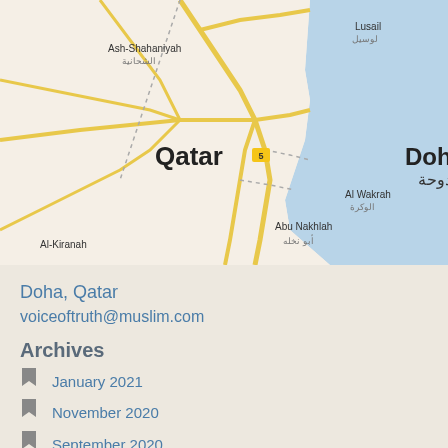[Figure (map): Map of Qatar showing Doha, Lusail, Ash-Shahaniyah, Al Wakrah, Abu Nakhlah, Al-Kiranah areas with roads and coastline]
Doha, Qatar
voiceoftruth@muslim.com
Archives
January 2021
November 2020
September 2020
August 2020